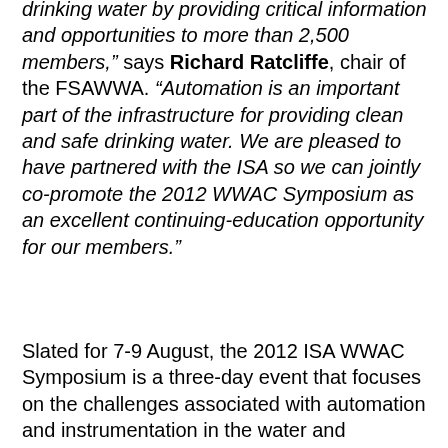drinking water by providing critical information and opportunities to more than 2,500 members," says Richard Ratcliffe, chair of the FSAWWA. "Automation is an important part of the infrastructure for providing clean and safe drinking water. We are pleased to have partnered with the ISA so we can jointly co-promote the 2012 WWAC Symposium as an excellent continuing-education opportunity for our members."
Slated for 7-9 August, the 2012 ISA WWAC Symposium is a three-day event that focuses on the challenges associated with automation and instrumentation in the water and wastewater sectors. It features two full days of technical speakers and presentations, a tour of a local water treatment plant, a general reception, networking events, a poster session and a supplier showcase.
"Automation has a growing and important role in the municipal drinking water sector," mantains ISA Executive Director and CEO Pat Gouhin. "ISA has a wealth of expertise and resources in all areas of automation, and we are pleased to share this with members of the Florida Section of the AWWA. Through the partnership between the